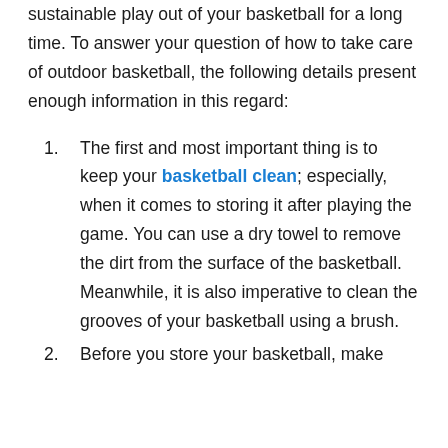sustainable play out of your basketball for a long time. To answer your question of how to take care of outdoor basketball, the following details present enough information in this regard:
The first and most important thing is to keep your basketball clean; especially, when it comes to storing it after playing the game. You can use a dry towel to remove the dirt from the surface of the basketball. Meanwhile, it is also imperative to clean the grooves of your basketball using a brush.
Before you store your basketball, make